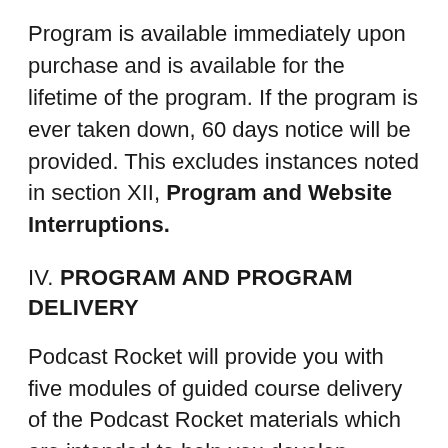Program is available immediately upon purchase and is available for the lifetime of the program. If the program is ever taken down, 60 days notice will be provided. This excludes instances noted in section XII, Program and Website Interruptions.
IV. PROGRAM AND PROGRAM DELIVERY
Podcast Rocket will provide you with five modules of guided course delivery of the Podcast Rocket materials which are intended to help you develop, produce and launch your podcast. You will have